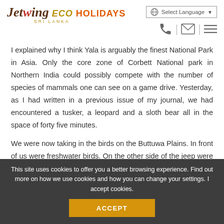Jetwing ECO HOLIDAYS SRI LANKA — Select Language
I explained why I think Yala is arguably the finest National Park in Asia. Only the core zone of Corbett National park in Northern India could possibly compete with the number of species of mammals one can see on a game drive. Yesterday, as I had written in a previous issue of my journal, we had encountered a tusker, a leopard and a sloth bear all in the space of forty five minutes.
We were now taking in the birds on the Buttuwa Plains. In front of us were freshwater birds. On the other side of the jeep were estuarine and dry open country birds. Lesser Sand Plover, Kentish
This site uses cookies to offer you a better browsing experience. Find out more on how we use cookies and how you can change your settings. I accept cookies.